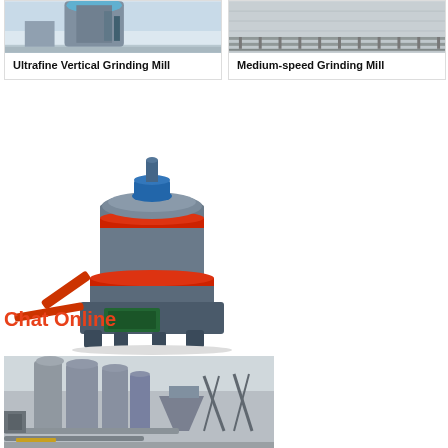[Figure (photo): Ultrafine Vertical Grinding Mill product photo - large industrial vertical mill machine]
Ultrafine Vertical Grinding Mill
[Figure (photo): Medium-speed Grinding Mill product photo - industrial grinding equipment conveyor]
Medium-speed Grinding Mill
[Figure (photo): Industrial grinding mill machine - dark grey cylindrical vertical mill with red accents and base components]
Chat Online
[Figure (photo): Industrial plant facility with large grey silos, pipework, and structural steel framework]